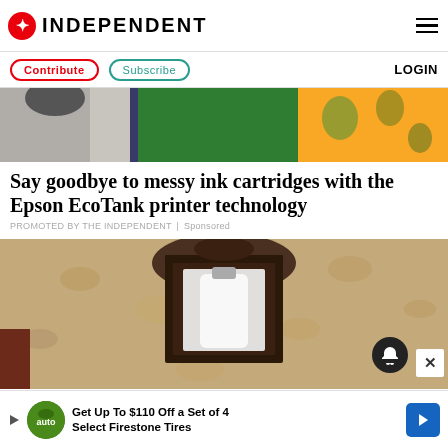INDEPENDENT
Contribute | Subscribe | LOGIN
[Figure (photo): Partial top image showing colorful clothing items — green and yellow patterned fabric]
Say goodbye to messy ink cartridges with the Epson EcoTank printer technology
PROMOTED BY THE INDEPENDENT | Sponsored
[Figure (photo): A wall-mounted lantern with a glass enclosure against a textured beige stucco wall, with notification bell icon and X close button overlaid]
Get Up To $110 Off a Set of 4 Select Firestone Tires